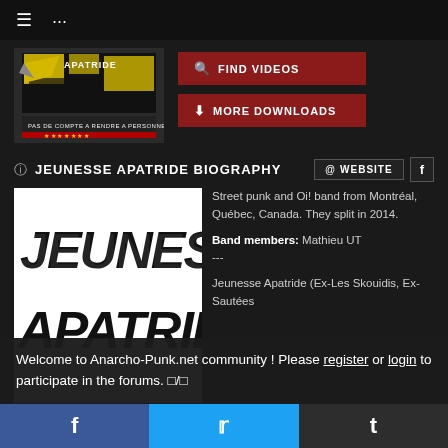≡  ···
[Figure (illustration): Album cover art for Jeunesse Apatride - Pas De Compte A Rendre A Personne, yellow and black design with stars]
FIND VIDEOS
MORE DOWNLOADS
ℹ JEUNESSE APATRIDE BIOGRAPHY
@ WEBSITE
f
[Figure (illustration): Jeunesse Apatride black and white band logo with large text]
Street punk and Oi! band from Montréal, Québec, Canada. They split in 2014.
Band members: Mathieu UT ---
Jeunesse Apatride (Ex-Les Skouidis, Ex-Sautées Barberelles, Ex-K...tain ...punk rock group with reference to some Oi
Welcome to Anarcho-Punk.net community ! Please register or login to participate in the forums.
f  🐦  t